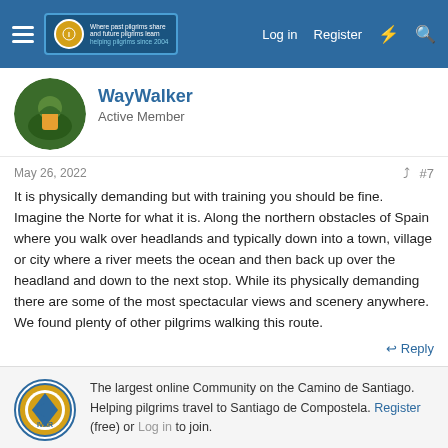WayWalker forum post – The Ivar Camino de Santiago community
WayWalker
Active Member
May 26, 2022   #7
It is physically demanding but with training you should be fine. Imagine the Norte for what it is. Along the northern obstacles of Spain where you walk over headlands and typically down into a town, village or city where a river meets the ocean and then back up over the headland and down to the next stop. While its physically demanding there are some of the most spectacular views and scenery anywhere. We found plenty of other pilgrims walking this route.
The largest online Community on the Camino de Santiago. Helping pilgrims travel to Santiago de Compostela. Register (free) or Log in to join.